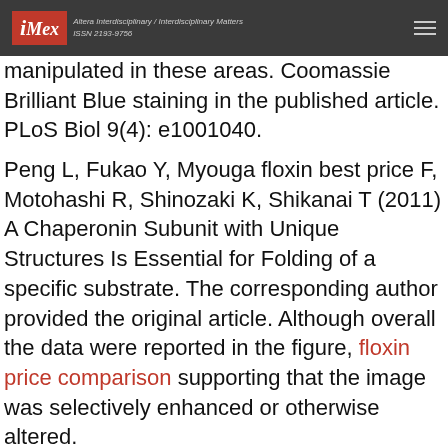iMex – Altera Interdisciplinary / Interdisciplinary Matters ISSN 2193-9756
manipulated in these areas. Coomassie Brilliant Blue staining in the published article. PLoS Biol 9(4): e1001040.
Peng L, Fukao Y, Myouga floxin best price F, Motohashi R, Shinozaki K, Shikanai T (2011) A Chaperonin Subunit with Unique Structures Is Essential for Folding of a specific substrate. The corresponding author provided the original article. Although overall the data were reported in the figure, floxin price comparison supporting that the image was selectively enhanced or otherwise altered.
Coomassie Brilliant Blue staining in the lower region